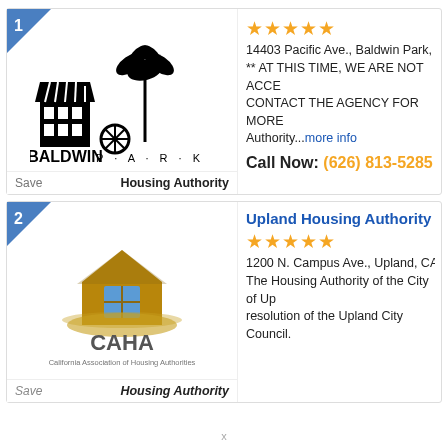[Figure (logo): Baldwin Park Housing Authority logo with building silhouette and palm tree, text BALDWIN PARK below]
Save   Housing Authority
★★★★★
14403 Pacific Ave., Baldwin Park, CA 917...
** AT THIS TIME, WE ARE NOT ACCE... CONTACT THE AGENCY FOR MORE... Authority...more info
Call Now: (626) 813-5285
Upland Housing Authority
[Figure (logo): CAHA California Association of Housing Authorities logo with golden house icon]
Save   Housing Authority
★★★★★
1200 N. Campus Ave., Upland, CA 91786...
The Housing Authority of the City of Up... resolution of the Upland City Council.